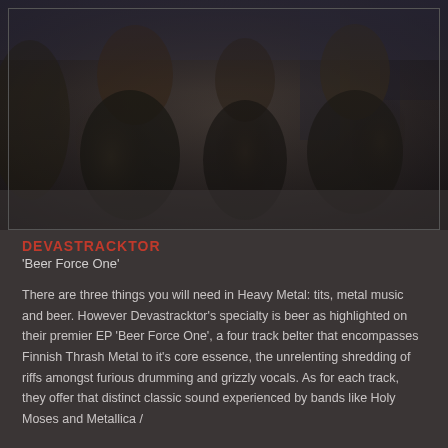[Figure (photo): Band photo of Devastracktor — four long-haired musicians in black leather jackets photographed from a low angle against a building backdrop]
DEVASTRACKTOR
'Beer Force One'
There are three things you will need in Heavy Metal: tits, metal music and beer. However Devastracktor's specialty is beer as highlighted on their premier EP 'Beer Force One', a four track belter that encompasses Finnish Thrash Metal to it's core essence, the unrelenting shredding of riffs amongst furious drumming and grizzly vocals. As for each track, they offer that distinct classic sound experienced by bands like Holy Moses and Metallica / Slayer for each and that's because they have a great understanding of ...